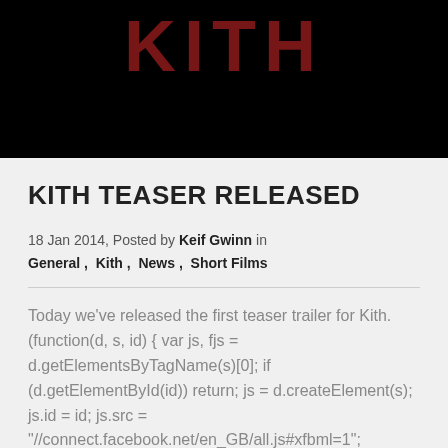[Figure (photo): Black banner with dark red bold text 'KITH' partially visible at the top of the page]
KITH TEASER RELEASED
18 Jan 2014, Posted by Keif Gwinn in General, Kith, News, Short Films
Today we've released the first teaser trailer for Kith. (function(d, s, id) { var js, fjs = d.getElementsByTagName(s)[0]; if (d.getElementById(id)) return; js = d.createElement(s); js.id = id; js.src = "//connect.facebook.net/en_GB/all.js#xfbml=1"; fjs.parentNode.insertBefore(js, fjs); } (document, 'script', 'facebook-jssdk')); Post by Sketch In Studios. const overlayTranslations